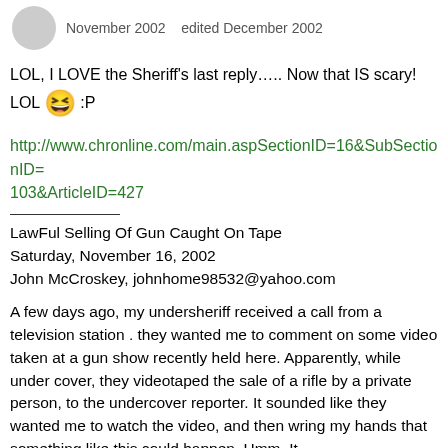November 2002   edited December 2002
LOL, I LOVE the Sheriff's last reply….. Now that IS scary!
LOL 😆 :P
http://www.chronline.com/main.aspSectionID=16&SubSectionID=103&ArticleID=427
LawFul Selling Of Gun Caught On Tape
Saturday, November 16, 2002
John McCroskey, johnhome98532@yahoo.com
A few days ago, my undersheriff received a call from a television station . they wanted me to comment on some video taken at a gun show recently held here. Apparently, while under cover, they videotaped the sale of a rifle by a private person, to the undercover reporter. It sounded like they wanted me to watch the video, and then wring my hands that something like this could happen. Hmm. It